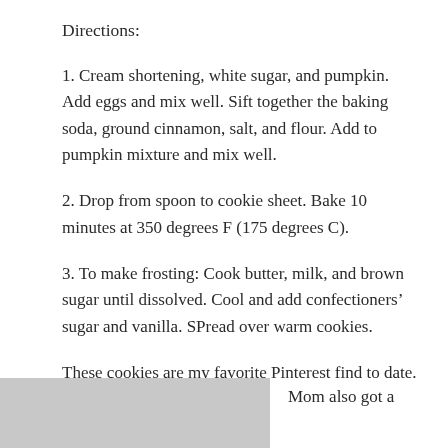Directions:
1. Cream shortening, white sugar, and pumpkin. Add eggs and mix well. Sift together the baking soda, ground cinnamon, salt, and flour. Add to pumpkin mixture and mix well.
2. Drop from spoon to cookie sheet. Bake 10 minutes at 350 degrees F (175 degrees C).
3. To make frosting: Cook butter, milk, and brown sugar until dissolved. Cool and add confectioners’ sugar and vanilla. SPread over warm cookies.
These cookies are my favorite Pinterest find to date. They are so tasty!
[Figure (photo): Partial photo of cookies, cut off at bottom of page]
Mom also got a